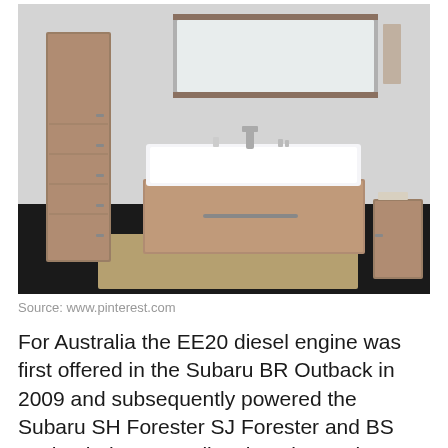[Figure (photo): Modern bathroom vanity with wall-mounted white sink, wood-finish cabinet below, tall wood-finish storage cabinet on left with drawer handles, smaller wood-finish cabinet on right, rectangular mirror mounted on grey wall, dark floor with a beige rug in foreground]
Source: www.pinterest.com
For Australia the EE20 diesel engine was first offered in the Subaru BR Outback in 2009 and subsequently powered the Subaru SH Forester SJ Forester and BS OutbackThe EE20 diesel engine underwent substantial changes in 2014 to comply with Euro 6